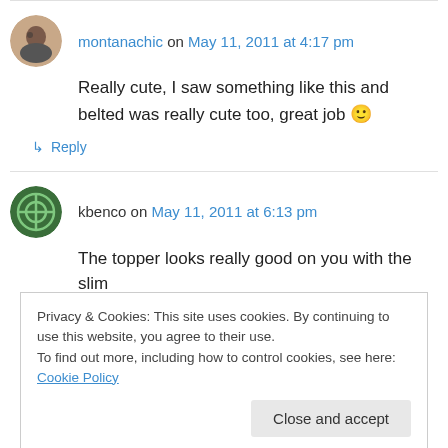montanachic on May 11, 2011 at 4:17 pm
Really cute, I saw something like this and belted was really cute too, great job 🙂
↳ Reply
kbenco on May 11, 2011 at 6:13 pm
The topper looks really good on you with the slim
Privacy & Cookies: This site uses cookies. By continuing to use this website, you agree to their use.
To find out more, including how to control cookies, see here: Cookie Policy
Close and accept